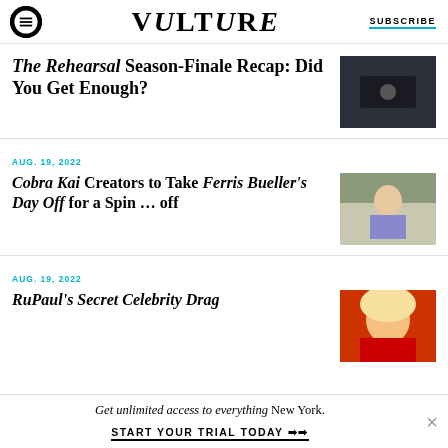VULTURE | SUBSCRIBE
The Rehearsal Season-Finale Recap: Did You Get Enough?
AUG. 19, 2022
Cobra Kai Creators to Take Ferris Bueller's Day Off for a Spin … off
AUG. 19, 2022
RuPaul's Secret Celebrity Drag
Get unlimited access to everything New York. START YOUR TRIAL TODAY ➤➤